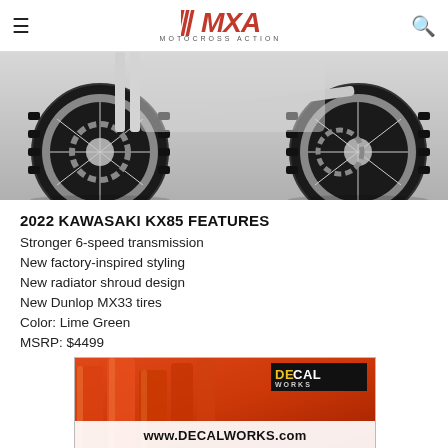MXA MOTOCROSS ACTION
[Figure (photo): Bottom portion of a Kawasaki KX85 motocross motorcycle showing front and rear wheels with knobby tires and disc brakes against a light gray background]
2022 KAWASAKI KX85 FEATURES
Stronger 6-speed transmission
New factory-inspired styling
New radiator shroud design
New Dunlop MX33 tires
Color: Lime Green
MSRP: $4499
[Figure (photo): Close-up of orange motorcycle frames/forks with DECALWORKS advertisement overlay showing www.DECALWORKS.com and the DECAL WORKS logo]